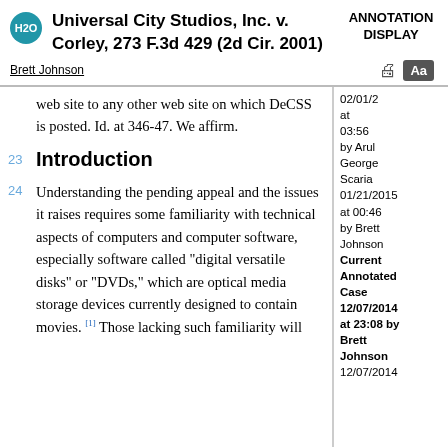Universal City Studios, Inc. v. Corley, 273 F.3d 429 (2d Cir. 2001)
ANNOTATION DISPLAY
Brett Johnson
web site to any other web site on which DeCSS is posted. Id. at 346-47. We affirm.
23 Introduction
24 Understanding the pending appeal and the issues it raises requires some familiarity with technical aspects of computers and computer software, especially software called "digital versatile disks" or "DVDs," which are optical media storage devices currently designed to contain movies. [1] Those lacking such familiarity will
02/01/2015 at 03:56 by Arul George Scaria 01/21/2015 at 00:46 by Brett Johnson Current Annotated Case 12/07/2014 at 23:08 by Brett Johnson 12/07/2014